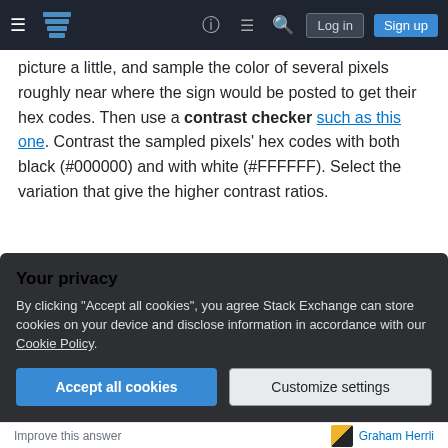Stack Exchange navigation bar with Log in and Sign up buttons
picture a little, and sample the color of several pixels roughly near where the sign would be posted to get their hex codes. Then use a contrast checker such as this one. Contrast the sampled pixels' hex codes with both black (#000000) and with white (#FFFFFF). Select the variation that give the higher contrast ratios.
WCAG guidelines suggest a minimum contrast ratio of at least 4.5:1. If you're not reliably getting that for all of the sampled pixels in your chosen variation,
Your privacy
By clicking "Accept all cookies", you agree Stack Exchange can store cookies on your device and disclose information in accordance with our Cookie Policy.
Accept all cookies   Customize settings
Improve this answer   Graham Herrli